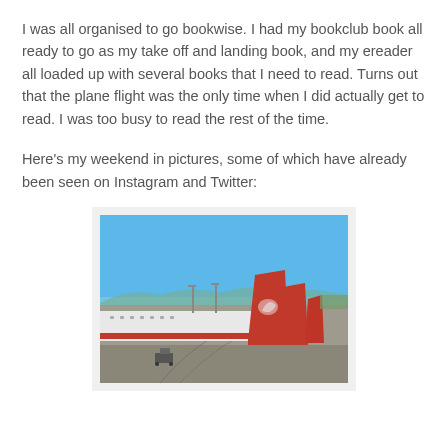I was all organised to go bookwise. I had my bookclub book all ready to go as my take off and landing book, and my ereader all loaded up with several books that I need to read. Turns out that the plane flight was the only time when I did actually get to read. I was too busy to read the rest of the time.
Here's my weekend in pictures, some of which have already been seen on Instagram and Twitter:
[Figure (photo): Photograph of Qantas aircraft tails on an airport tarmac under a clear blue sky. Two or three large red Qantas kangaroo-logo tail fins are visible, with the bodies of the wide-body jets extending to the left. The tarmac foreground shows concrete and painted markings.]